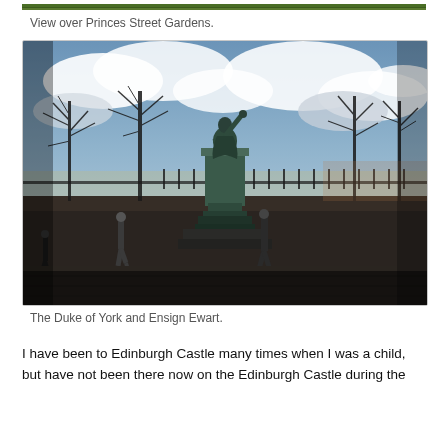[Figure (photo): Top strip of a photo showing green landscape, partially cropped at top of page]
View over Princes Street Gardens.
[Figure (photo): Photograph of a statue of the Duke of York on a pedestal in a public park (Princes Street Gardens, Edinburgh). Bare winter trees visible behind the statue, cloudy sky above. Two people standing near the base of the statue. Iron railings visible in the background.]
The Duke of York and Ensign Ewart.
I have been to Edinburgh Castle many times when I was a child, but have not been there now on the Edinburgh Castle during the